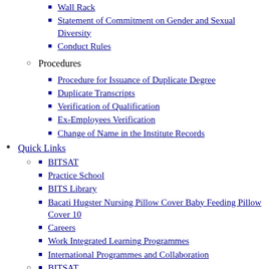Wall Rack
Statement of Commitment on Gender and Sexual Diversity
Conduct Rules
Procedures
Procedure for Issuance of Duplicate Degree
Duplicate Transcripts
Verification of Qualification
Ex-Employees Verification
Change of Name in the Institute Records
Quick Links
BITSAT
Practice School
BITS Library
Bacati Hugster Nursing Pillow Cover Baby Feeding Pillow Cover 10
Careers
Work Integrated Learning Programmes
International Programmes and Collaboration
BITSAT
Practice School
BITS Library
Roky Erickson OOAK Upcycle Denim Vest